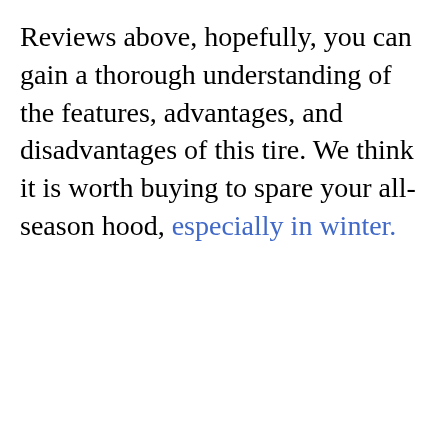Reviews above, hopefully, you can gain a thorough understanding of the features, advantages, and disadvantages of this tire. We think it is worth buying to spare your all-season hood, especially in winter.